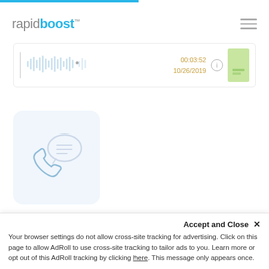[Figure (screenshot): RapidBoost website screenshot showing logo, hamburger menu, audio player bar, phone/chat icon, free consultation CTA, and a cookie consent banner]
rapidboost™
[Figure (other): Audio player bar with waveform, timestamp 00:03:52, date 10/26/2019, info icon, and green thumbnail]
[Figure (illustration): Phone and speech bubble icons on light blue rounded square background]
Get a free consultation
Full Name
Accept and Close ✕
Your browser settings do not allow cross-site tracking for advertising. Click on this page to allow AdRoll to use cross-site tracking to tailor ads to you. Learn more or opt out of this AdRoll tracking by clicking here. This message only appears once.